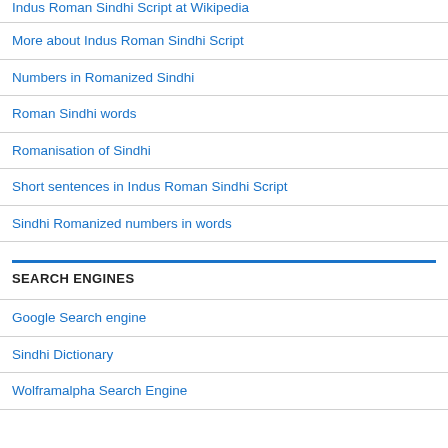Indus Roman Sindhi Script at Wikipedia
More about Indus Roman Sindhi Script
Numbers in Romanized Sindhi
Roman Sindhi words
Romanisation of Sindhi
Short sentences in Indus Roman Sindhi Script
Sindhi Romanized numbers in words
SEARCH ENGINES
Google Search engine
Sindhi Dictionary
Wolframalpha Search Engine